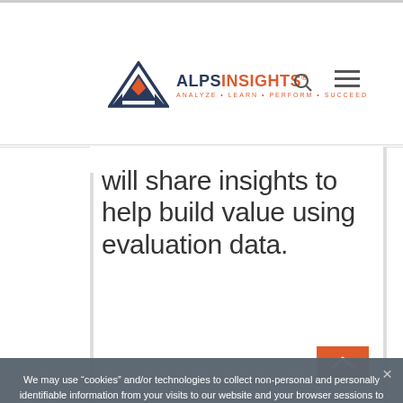[Figure (logo): ALPS INSIGHTS logo with diamond shape and tagline: ANALYZE • LEARN • PERFORM • SUCCEED]
will share insights to help build value using evaluation data.
We may use “cookies” and/or technologies to collect non-personal and personally identifiable information from your visits to our website and your browser sessions to enhance your overall site experience and for statistical purposes. If you’d prefer to restrict, block or delete cookies from this website or any other website, you can use your browser to do this. Each browser is different; so check online with the provider of your particular browser for instructions. If you don’t wish to enable cookies, you’ll still be able to browse the website but certain cookie-dependent features will be unavailable to you. Privacy policy